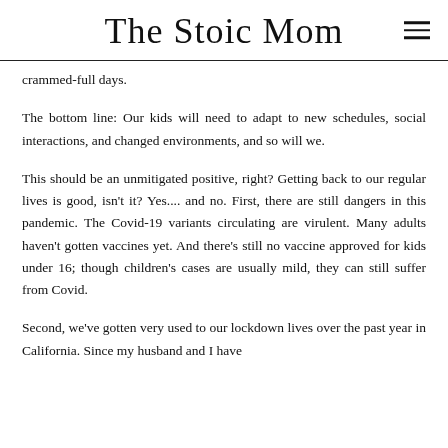The Stoic Mom
crammed-full days.
The bottom line: Our kids will need to adapt to new schedules, social interactions, and changed environments, and so will we.
This should be an unmitigated positive, right? Getting back to our regular lives is good, isn't it? Yes.... and no. First, there are still dangers in this pandemic. The Covid-19 variants circulating are virulent. Many adults haven't gotten vaccines yet. And there's still no vaccine approved for kids under 16; though children's cases are usually mild, they can still suffer from Covid.
Second, we've gotten very used to our lockdown lives over the past year in California. Since my husband and I have